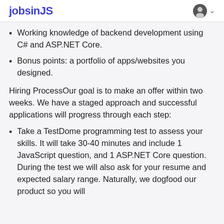jobsinJS
Working knowledge of backend development using C# and ASP.NET Core.
Bonus points: a portfolio of apps/websites you designed.
Hiring ProcessOur goal is to make an offer within two weeks. We have a staged approach and successful applications will progress through each step:
Take a TestDome programming test to assess your skills. It will take 30-40 minutes and include 1 JavaScript question, and 1 ASP.NET Core question. During the test we will also ask for your resume and expected salary range. Naturally, we dogfood our product so you will